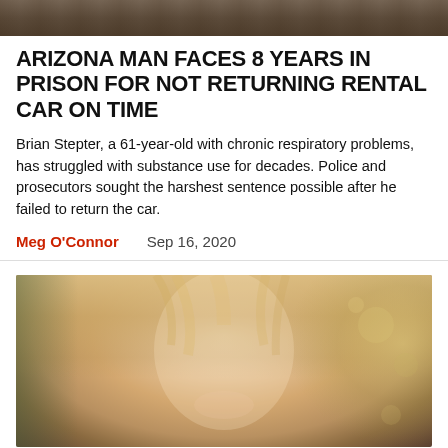[Figure (photo): Top cropped photo showing partial view of a person, dark brown tones]
ARIZONA MAN FACES 8 YEARS IN PRISON FOR NOT RETURNING RENTAL CAR ON TIME
Brian Stepter, a 61-year-old with chronic respiratory problems, has struggled with substance use for decades. Police and prosecutors sought the harshest sentence possible after he failed to return the car.
Meg O'Connor    Sep 16, 2020
[Figure (photo): Portrait photo of a smiling blonde woman with blue eyes, outdoor bokeh background]